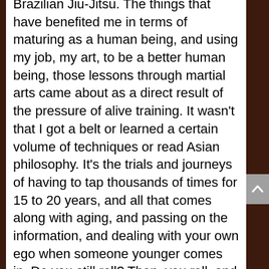Brazilian Jiu-Jitsu. The things that have benefited me in terms of maturing as a human being, and using my job, my art, to be a better human being, those lessons through martial arts came about as a direct result of the pressure of alive training. It wasn't that I got a belt or learned a certain volume of techniques or read Asian philosophy. It's the trials and journeys of having to tap thousands of times for 15 to 20 years, and all that comes along with aging, and passing on the information, and dealing with your own ego when someone younger comes in. Do you still roll? Then, you roll, and the whole thing, and to avoid that process, to take yourself out of that process, out of rolling, out of the alive training, I think is bad for human beings. The most valuable to me about the art, personally,